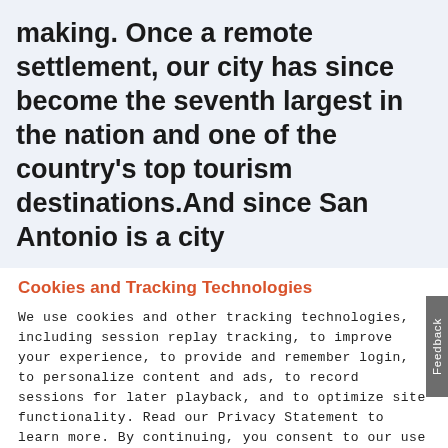making. Once a remote settlement, our city has since become the seventh largest in the nation and one of the country's top tourism destinations.And since San Antonio is a city
Cookies and Tracking Technologies
We use cookies and other tracking technologies, including session replay tracking, to improve your experience, to provide and remember login, to personalize content and ads, to record sessions for later playback, and to optimize site functionality. Read our Privacy Statement to learn more. By continuing, you consent to our use of the tracking technologies and our terms including important waivers. To learn more about the trackers on our site and change your preferences, View Settings.
ACCEPT
PRENOTA ORA